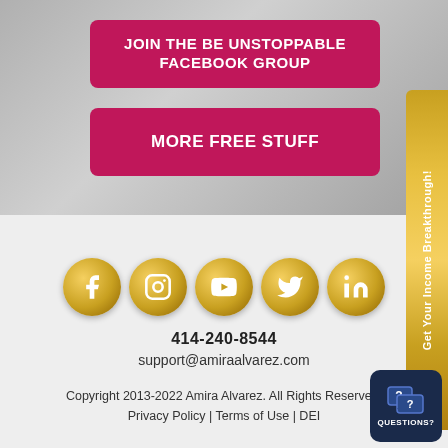[Figure (other): Top half background with blurred photo of person, gray tones]
JOIN THE BE UNSTOPPABLE FACEBOOK GROUP
MORE FREE STUFF
[Figure (other): Gold vertical side tab reading 'Get Your Income Breakthrough!']
[Figure (other): Row of 5 gold social media icons: Facebook, Instagram, YouTube, Twitter, LinkedIn]
414-240-8544
support@amiraalvarez.com
Copyright 2013-2022 Amira Alvarez. All Rights Reserved.
Privacy Policy | Terms of Use | DEI
[Figure (other): Dark blue questions chat button with speech bubble icon and text QUESTIONS?]